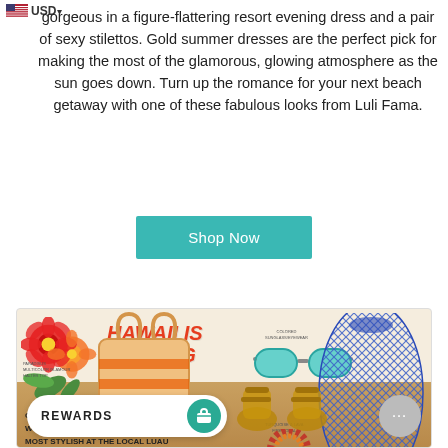USD
gorgeous in a figure-flattering resort evening dress and a pair of sexy stilettos. Gold summer dresses are the perfect pick for making the most of the glamorous, glowing atmosphere as the sun goes down. Turn up the romance for your next beach getaway with one of these fabulous looks from Luli Fama.
Shop Now
[Figure (infographic): Hawaii Is Calling promotional banner featuring hibiscus flowers, text 'HAWAII IS CALLING', tagline 'GETAWAY TO A TROPICAL PARADISE! WE GOT YOU COVERED TO BE VOTED MOST STYLISH AT THE LOCAL LUAU', sunglasses, blue mesh top, necklace, sandals, and a beach bag. A rewards bar and chat bubble are visible at the bottom.]